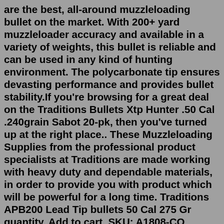are the best, all-around muzzleloading bullet on the market. With 200+ yard muzzleloader accuracy and available in a variety of weights, this bullet is reliable and can be used in any kind of hunting environment. The polycarbonate tip ensures devasting performance and provides bullet stability.If you're browsing for a great deal on the Traditions Bullets Xtp Hunter .50 Cal .240grain Sabot 20-pk, then you've turned up at the right place.. These Muzzleloading Supplies from the professional product specialists at Traditions are made working with heavy duty and dependable materials, in order to provide you with product which will be powerful for a long time. Traditions APB200 Lead Tip bullets 50 Cal 275 Gr quantity. Add to cart. SKU: A1808-CO Category: Close Out. Related products. Butler Creek Ultra Cartridge Sling - Black 48″ L x 1″ W $ 12.00 Add to cart; T/C Priming Tool, For T/C Encore 209×50 Magnum & T/C Omega, Part#7760 $ 8.99 Add to cart;Traditions Bullet Starter Round Handle Black~A1210. New New New. $15.19. Free shipping. Free shipping. Free shipping. Sell...